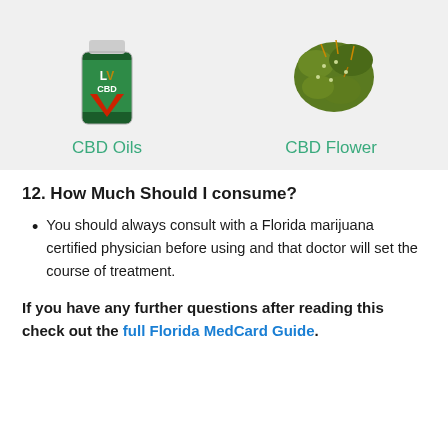[Figure (photo): Two CBD product images side by side on a light gray background: a green CBD Oils bottle with LV CBD logo on the left, and a cannabis flower bud on the right. Labels 'CBD Oils' and 'CBD Flower' appear below each image in teal/green color.]
12. How Much Should I consume?
You should always consult with a Florida marijuana certified physician before using and that doctor will set the course of treatment.
If you have any further questions after reading this check out the full Florida MedCard Guide.